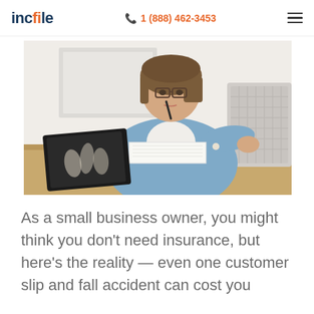incfile  1 (888) 462-3453
[Figure (photo): A young woman with glasses sitting at a wooden desk, holding a pen near her mouth in a thoughtful pose, with an open notebook and a black laptop in front of her, in a bright room with white walls.]
As a small business owner, you might think you don't need insurance, but here's the reality — even one customer slip and fall accident can cost you